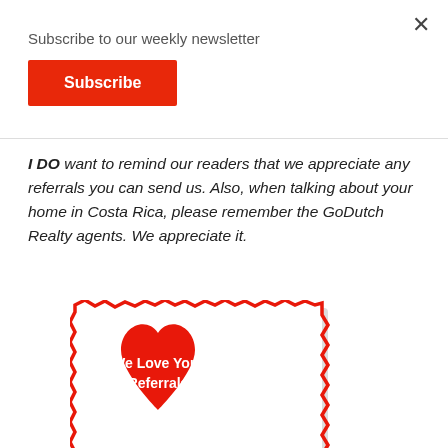×
Subscribe to our weekly newsletter
Subscribe
I DO want to remind our readers that we appreciate any referrals you can send us. Also, when talking about your home in Costa Rica, please remember the GoDutch Realty agents. We appreciate it.
[Figure (illustration): A red heart shape on a white square card with a red jagged border, containing white bold text reading 'We Love Your Referrals' and 'At', with a white swoosh/arrow design underneath the text.]